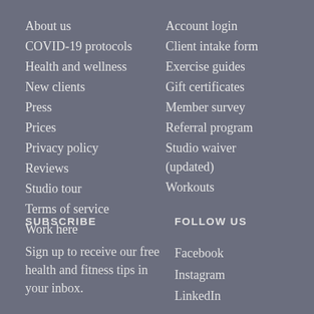About us
COVID-19 protocols
Health and wellness
New clients
Press
Prices
Privacy policy
Reviews
Studio tour
Terms of service
Work here
Account login
Client intake form
Exercise guides
Gift certificates
Member survey
Referral program
Studio waiver (updated)
Workouts
SUBSCRIBE
FOLLOW US
Sign up to receive our free health and fitness tips in your inbox.
Facebook
Instagram
LinkedIn